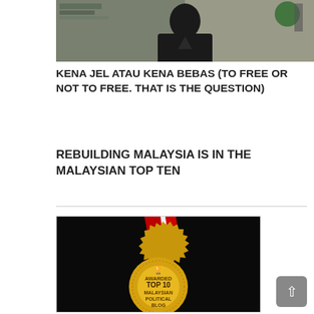[Figure (photo): Photo of a person in black clothing, blog article header image]
KENA JEL ATAU KENA BEBAS (TO FREE OR NOT TO FREE. THAT IS THE QUESTION)
REBUILDING MALAYSIA IS IN THE MALAYSIAN TOP TEN
[Figure (illustration): Gold award medal with red and white ribbon, text reads: AWARDED TOP 10 MALAYSIAN POLITICAL BLOG]